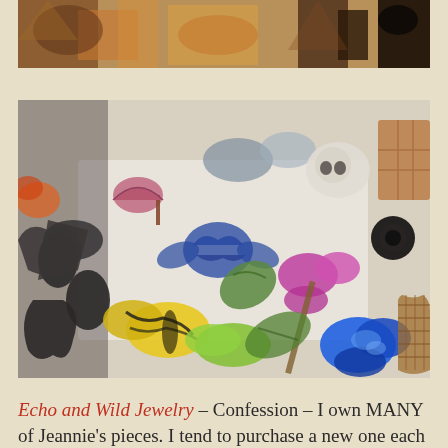[Figure (photo): Top partial photo showing colorful painted figurines or artwork pieces, partially cropped at top of page]
[Figure (photo): Photo of many colorful polymer clay or painted figurines spread on a white surface, including butterflies (yellow, blue, pink), ravens/crows, skull, umbrella, rose, and other fantasy/nature themed jewelry/art pieces]
Echo and Wild Jewelry – Confession – I own MANY of Jeannie's pieces. I tend to purchase a new one each year at the MD Renaissance Festival. I have